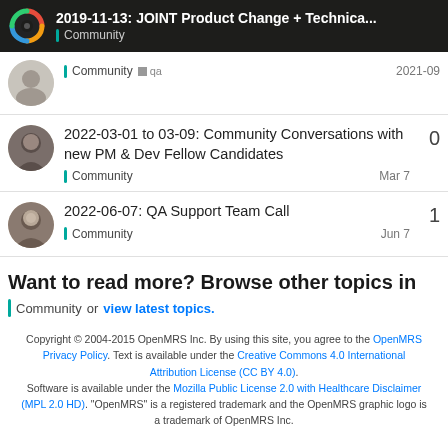2019-11-13: JOINT Product Change + Technica... | Community
Community qa — 2021-09
2022-03-01 to 03-09: Community Conversations with new PM & Dev Fellow Candidates — Community — Mar 7 — 0 replies
2022-06-07: QA Support Team Call — Community — Jun 7 — 1 reply
Want to read more? Browse other topics in Community or view latest topics.
Copyright © 2004-2015 OpenMRS Inc. By using this site, you agree to the OpenMRS Privacy Policy. Text is available under the Creative Commons 4.0 International Attribution License (CC BY 4.0). Software is available under the Mozilla Public License 2.0 with Healthcare Disclaimer (MPL 2.0 HD). "OpenMRS" is a registered trademark and the OpenMRS graphic logo is a trademark of OpenMRS Inc.